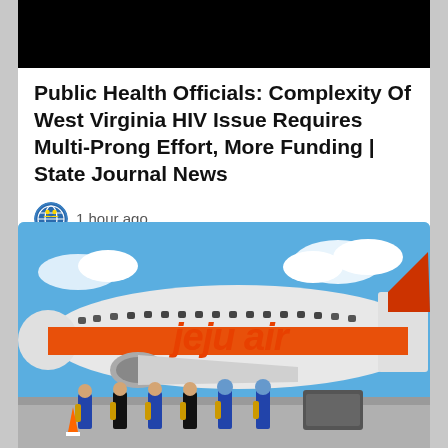[Figure (photo): Black image at top of first news card]
Public Health Officials: Complexity Of West Virginia HIV Issue Requires Multi-Prong Effort, More Funding | State Journal News
1 hour ago
[Figure (photo): Photo of Jeju Air airplane with ground crew staff standing in front of it on tarmac]